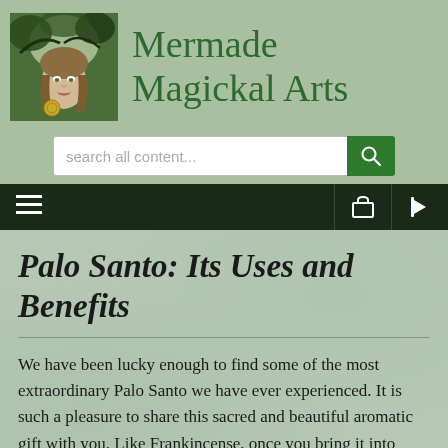[Figure (logo): Mermade Magickal Arts logo: painting of a woman's face with green foliage/trees in background]
Mermade Magickal Arts
[Figure (screenshot): Search bar with text 'search all content...' and a green search button with magnifying glass icon]
[Figure (screenshot): Dark navigation bar with hamburger menu icon on left, cart and login icons on right]
Palo Santo: Its Uses and Benefits
We have been lucky enough to find some of the most extraordinary Palo Santo we have ever experienced. It is such a pleasure to share this sacred and beautiful aromatic gift with you. Like Frankincense, once you bring it into your life you will wonder how you did without it.